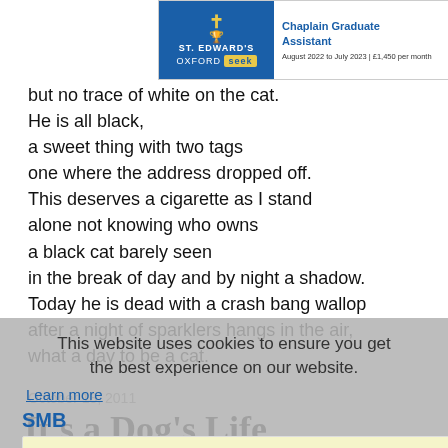[Figure (other): St. Edward's Oxford advertisement banner for Chaplain Graduate Assistant position, August 2022 to July 2023, £1,450 per month]
but no trace of white on the cat.
He is all black,
a sweet thing with two tags
one where the address dropped off.
This deserves a cigarette as I stand
alone not knowing who owns
a black cat barely seen
in the break of day and by night a shadow.
Today he is dead with a crash bang wallop
after a night of sparklers hangs in the air,
what a day to be a cat.
This website uses cookies to ensure you get the best experience on our website.
Learn more
SMB
Got it!
October 18, 2011
It's a Dog's Life